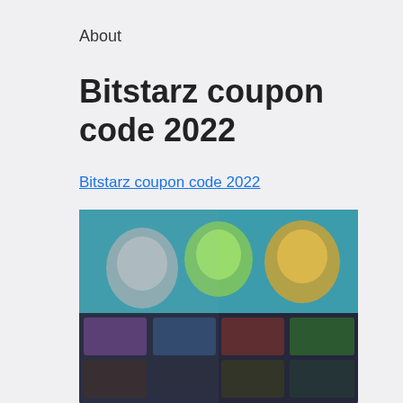About
Bitstarz coupon code 2022
Bitstarz coupon code 2022
[Figure (screenshot): Blurred screenshot of Bitstarz online casino website showing game thumbnails and interface with teal/blue color scheme]